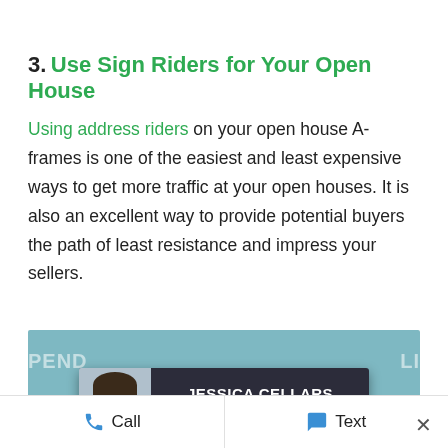3. Use Sign Riders for Your Open House
Using address riders on your open house A-frames is one of the easiest and least expensive ways to get more traffic at your open houses. It is also an excellent way to provide potential buyers the path of least resistance and impress your sellers.
[Figure (photo): Photo of open house sign riders and A-frame signs displayed on a light teal/blue background. Center sign rider shows a professional woman photo with name JESSICA CELLARS and phone 555-555-5555. Other signs include SAT/SUN and NEW LISTING signs.]
Call   Text  ×